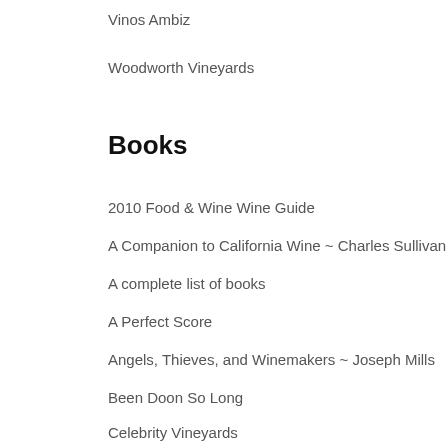Vinos Ambiz
Woodworth Vineyards
Books
2010 Food & Wine Wine Guide
A Companion to California Wine ~ Charles Sullivan
A complete list of books
A Perfect Score
Angels, Thieves, and Winemakers ~ Joseph Mills
Been Doon So Long
Celebrity Vineyards
Corked: A Father. A daughter. The wine trip to end all wine trips
Corkscrew
daring pairings